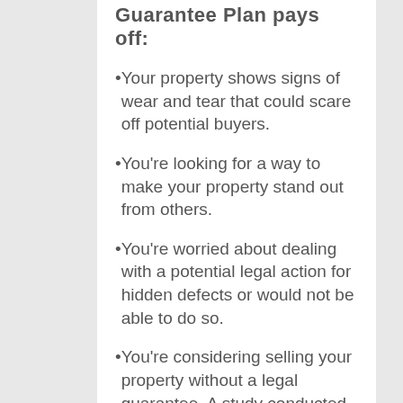Guarantee Plan pays off:
Your property shows signs of wear and tear that could scare off potential buyers.
You're looking for a way to make your property stand out from others.
You're worried about dealing with a potential legal action for hidden defects or would not be able to do so.
You're considering selling your property without a legal guarantee. A study conducted by JLR Real Estate in 2015 revealed that selling without a legal guarantee earns the seller 8% less. This amounts